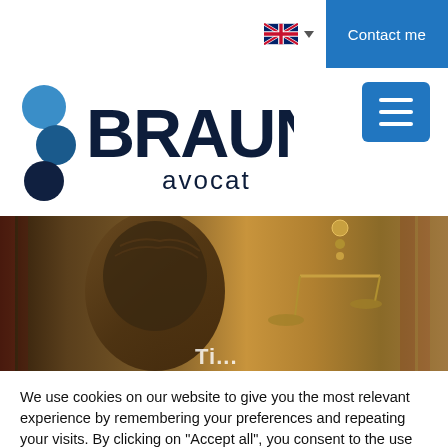Contact me
[Figure (logo): BRAUN avocat law firm logo with blue circles and dark text]
[Figure (photo): Close-up photo of Lady Justice bronze sculpture and scales of justice with blurred bookshelves background, partially obscured text beginning with 'Ti...']
We use cookies on our website to give you the most relevant experience by remembering your preferences and repeating your visits. By clicking on "Accept all", you consent to the use of ALL cookies. However, you can visit "Cookie Settings" to provide controlled consent.
Cookie settings
Accept all
Reject all